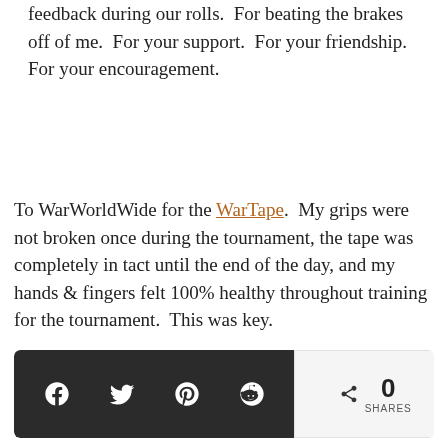feedback during our rolls.  For beating the brakes off of me.  For your support.  For your friendship.  For your encouragement.
To WarWorldWide for the WarTape.  My grips were not broken once during the tournament, the tape was completely in tact until the end of the day, and my hands & fingers felt 100% healthy throughout training for the tournament.  This was key.
[Figure (infographic): Social share bar with dark background showing Facebook, Twitter, Pinterest, Reddit icons and a share count of 0 SHARES]